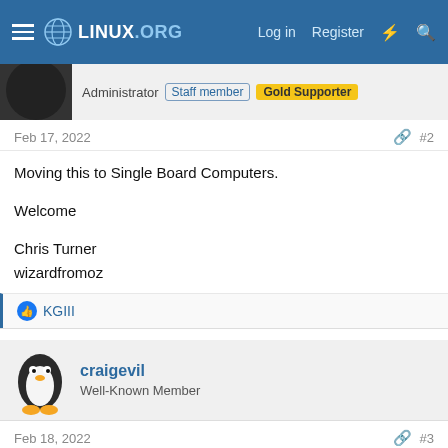LINUX.ORG — Log in  Register
Administrator  Staff member  Gold Supporter
Feb 17, 2022  #2
Moving this to Single Board Computers.

Welcome

Chris Turner
wizardfromoz
KGIII
craigevil
Well-Known Member
Feb 18, 2022  #3
Hm looks interesting. I normally use Raspcontroller.